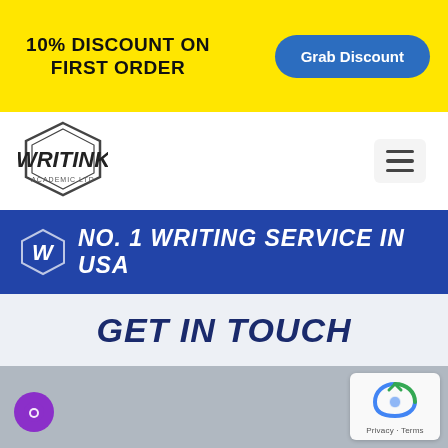10% DISCOUNT ON FIRST ORDER
Grab Discount
[Figure (logo): Writink logo — hexagonal emblem with stylized W]
[Figure (other): Hamburger menu icon]
[Figure (other): Blue banner with hexagonal W logo and text NO. 1 WRITING SERVICE IN USA]
GET IN TOUCH
[Figure (photo): Background photo showing a person at a laptop in a grey room]
[Figure (other): reCAPTCHA widget with Privacy and Terms links]
[Figure (other): Purple chat support button at bottom left]